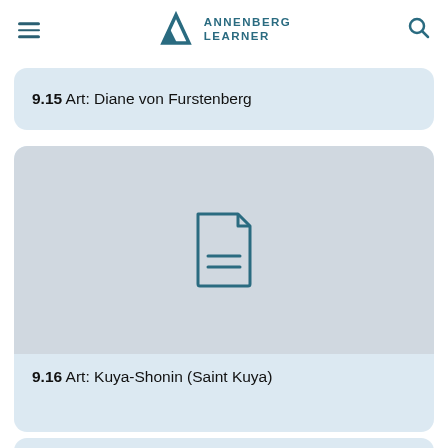Annenberg Learner
9.15 Art: Diane von Furstenberg
[Figure (illustration): Document/page placeholder icon — a stylized document with folded corner and two horizontal lines, teal outline on light grey background]
9.16 Art: Kuya-Shonin (Saint Kuya)